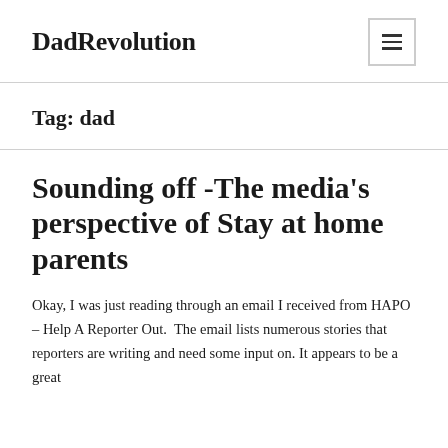DadRevolution
Tag: dad
Sounding off -The media's perspective of Stay at home parents
Okay, I was just reading through an email I received from HAPO – Help A Reporter Out. The email lists numerous stories that reporters are writing and need some input on. It appears to be a great